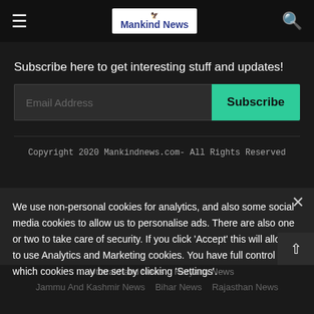Mankind News
Subscribe here to get interesting stuff and updates!
Email Address  |  Subscribe
Copyright 2020 Mankindnews.com- All Rights Reserved
We use non-personal cookies for analytics, and also some social media cookies to allow us to personalise ads. There are also one or two to take care of security. If you click 'Accept' this will allow us to use Analytics and Marketing cookies. You have full control over which cookies may be set by clicking 'Settings'.
Uttarakhand News   Haryana News
Jammu And Kashmir News   Bihar News   Rajasthan News